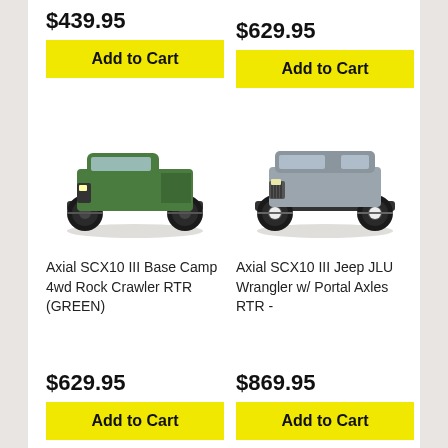$439.95
Add to Cart
$629.95
Add to Cart
[Figure (photo): RC truck - Axial SCX10 III Base Camp 4wd Rock Crawler RTR in green color]
[Figure (photo): RC truck - Axial SCX10 III Jeep JLU Wrangler with Portal Axles RTR in grey color]
Axial SCX10 III Base Camp 4wd Rock Crawler RTR (GREEN)
Axial SCX10 III Jeep JLU Wrangler w/ Portal Axles RTR -
$629.95
$869.95
Add to Cart
Add to Cart